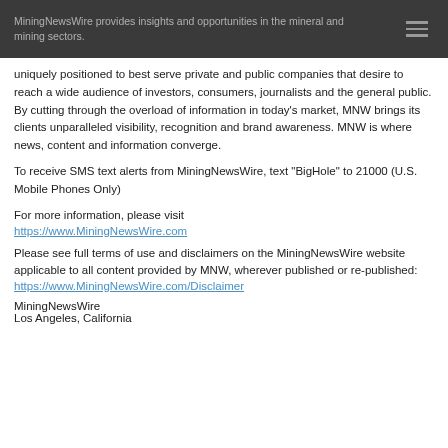MiningNewsWire provides insights and opportunities in the mineral and mining sectors.
uniquely positioned to best serve private and public companies that desire to reach a wide audience of investors, consumers, journalists and the general public. By cutting through the overload of information in today’s market, MNW brings its clients unparalleled visibility, recognition and brand awareness. MNW is where news, content and information converge.
To receive SMS text alerts from MiningNewsWire, text “BigHole” to 21000 (U.S. Mobile Phones Only)
For more information, please visit
https://www.MiningNewsWire.com
Please see full terms of use and disclaimers on the MiningNewsWire website applicable to all content provided by MNW, wherever published or re-published:
https://www.MiningNewsWire.com/Disclaimer
MiningNewsWire
Los Angeles, California